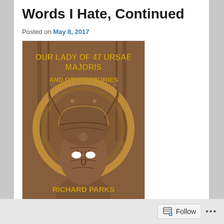Words I Hate, Continued
Posted on May 8, 2017
[Figure (illustration): Book cover of 'Our Lady of 47 Ursae Majoris and Other Stories' by Richard Parks. Features a robotic or cyborg face with glowing white eyes and a glowing orb on the forehead, set against a circular halo and steampunk-style mechanical background in brown tones. Title text in yellow at top, author name in yellow at bottom.]
Follow ...